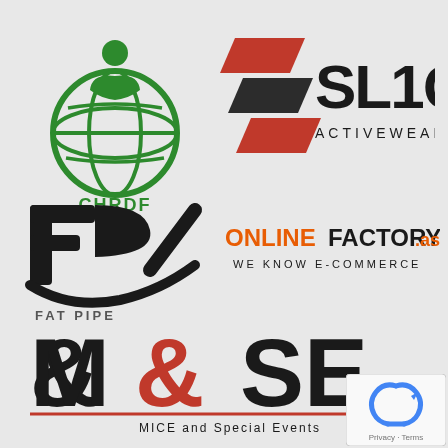[Figure (logo): CHRDF logo — green globe with person on top, text CHRDF below]
[Figure (logo): SLIQ Activewear logo — red and black angular S shape with bold text SL1Q ACTIVEWEAR]
[Figure (logo): Fat Pipe logo — stylized black F and P lettermark with text FAT PIPE below]
[Figure (logo): OnlineFactory.asia logo — bold orange ONLINEFACTORY with .asia and WE KNOW E-COMMERCE tagline]
[Figure (logo): M&SE MICE and Special Events logo — large black M&SE text with red ampersand and red underline, tagline MICE and Special Events]
[Figure (logo): Google reCAPTCHA Privacy-Terms badge in bottom right corner]